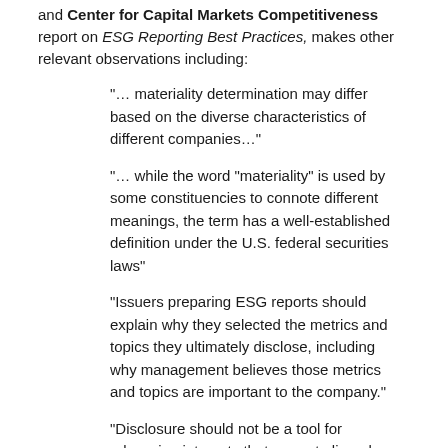and Center for Capital Markets Competitiveness report on ESG Reporting Best Practices, makes other relevant observations including:
“… materiality determination may differ based on the diverse characteristics of different companies…”
“… while the word “materiality” is used by some constituencies to connote different meanings, the term has a well-established definition under the U.S. federal securities laws”
“Issuers preparing ESG reports should explain why they selected the metrics and topics they ultimately disclose, including why management believes those metrics and topics are important to the company.”
“Disclosure should not be a tool for advancing interests that are not aligned with the company’s ability to create long-term value.”